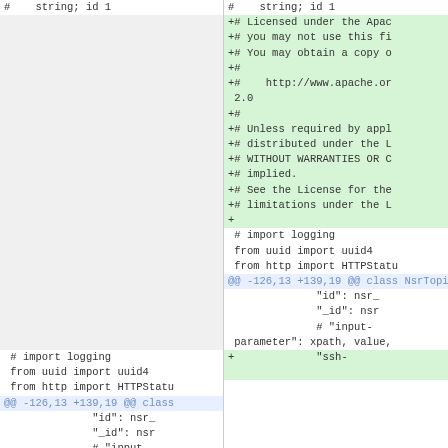Diff view showing two columns: left (old) and right (new) with added lines (green) for Apache license header, normal code lines, hunk header, and removed/added lines at the bottom.
Left column: # import logging / from uuid import uuid4 / from http import HTTPStatu / @@ -126,13 +139,19 @@ class NsrTopic(BaseTopic): / "id": nsr_ / "_id": nsr / # "input- / parameter": xpath, value, / - "ssh-
Right column (added green): +# Licensed under the Apac / +# you may not use this fi / +# You may obtain a copy o / +# / +#     http://www.apache.or / 2.0 / +# / +# Unless required by appl / +# distributed under the L / +# WITHOUT WARRANTIES OR C / +# implied. / +# See the License for the / +# limitations under the L / + / # import logging / from uuid import uuid4 / from http import HTTPStatu / @@ -126,13 +139,19 @@ class NsrTopic(BaseTopic): / "id": nsr_ / "_id": nsr / # "input- / parameter": xpath, value, / + "ssh-